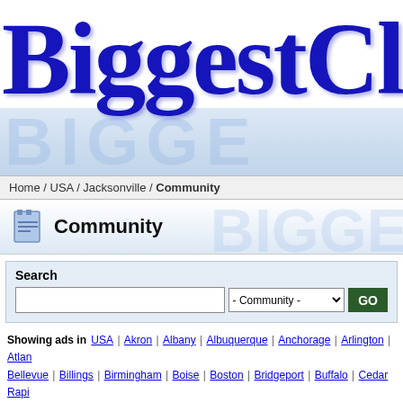[Figure (logo): BiggestClassifieds website logo with large blue serif text 'BiggestCla...' partially visible, with light blue watermark letters behind]
Home / USA / Jacksonville / Community
Community
Search
Showing ads in USA | Akron | Albany | Albuquerque | Anchorage | Arlington | Atlanta | Bellevue | Billings | Birmingham | Boise | Boston | Bridgeport | Buffalo | Cedar Rapids | Cleveland | Colorado Springs | Columbia | Columbus, GA | Columbus, OH | Corpus C... | Eugene | Evansville | Fargo | Fayetteville | Flagstaff | Flint | Fort Wayne | Fort Worth | Independence | Indianapolis | Jackson | Jacksonville | Jersey City | Joliet | Juneau | Ka... | Lincoln | Little Rock | Los Angeles | Louisville | Lubbock | Madison | Manchester | N... | Naperville | Nashville | New Haven | New Orleans | New York | Newark | Newport Ne... | Overland Park | Paradise | Paterson | Philadelphia | Phoenix | Pittsburgh | Plano | Port... | Rockford | Sacramento | Saint Louis | Saint Paul | Saint Petersburg | Salem | Salt Lake... | Seattle | Shreveport | Sioux Falls | Spokane | Springfield, IL | Springfield, MA | Sprin... | Topeka | Tucson | Tulsa | Vancouver | Virginia Beach | Warren | Washington DC | Wi...